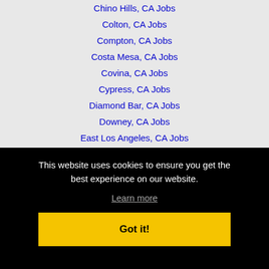Chino Hills, CA Jobs
Colton, CA Jobs
Compton, CA Jobs
Costa Mesa, CA Jobs
Covina, CA Jobs
Cypress, CA Jobs
Diamond Bar, CA Jobs
Downey, CA Jobs
East Los Angeles, CA Jobs
Escondido, CA Jobs
This website uses cookies to ensure you get the best experience on our website.
Learn more
Got it!